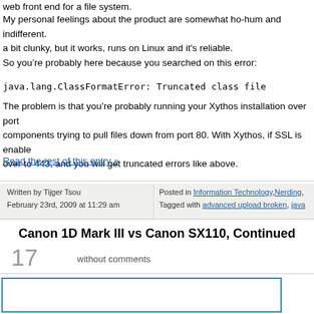web front end for a file system.
My personal feelings about the product are somewhat ho-hum and indifferent. a bit clunky, but it works, runs on Linux and it's reliable.
So you’re probably here because you searched on this error:
The problem is that you’re probably running your Xythos installation over port components trying to pull files down from port 80. With Xythos, if SSL is enable over to 443, and you will get truncated errors like above.
Read the rest of this entry »
Written by Tijger Tsou
February 23rd, 2009 at 11:29 am
Posted in Information Technology, Nerding,
Tagged with advanced upload broken, java
Canon 1D Mark III vs Canon SX110, Continued
17
without comments
[Figure (other): Blue-bordered box/image placeholder at the bottom of the page]